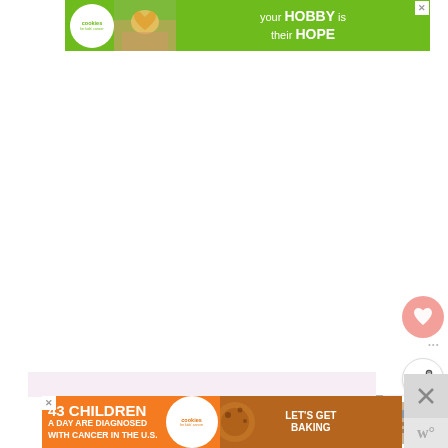[Figure (screenshot): Top banner advertisement for Cookies for Kids' Cancer charity. Green background with white circular logo on left, hands holding heart-shaped cookie in center, white bold text: 'your HOBBY is their HOPE'. Close button top right.]
[Figure (screenshot): Main white content area of a webpage, mostly blank/loading]
[Figure (infographic): Floating heart/save button (pink circle with heart icon) and share button (white circle with share icon) on the right side of the page]
[Figure (screenshot): What's Next panel showing thumbnail of Cozy Fall Bedroom article with orange label]
[Figure (screenshot): Bottom banner advertisement for Cookies for Kids' Cancer. Orange background with bold white text '43 CHILDREN / A Day Are Diagnosed / With Cancer in the U.S.' and Cookies for Kids' Cancer logo, cookie graphic, and 'Let's Get Baking' call to action. Close button. Gray X button and W logo icon on right.]